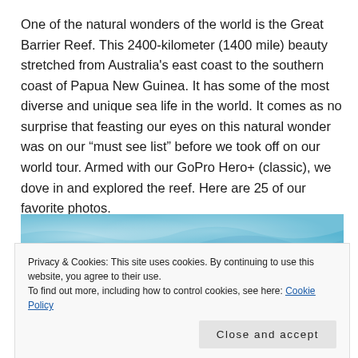One of the natural wonders of the world is the Great Barrier Reef. This 2400-kilometer (1400 mile) beauty stretched from Australia's east coast to the southern coast of Papua New Guinea. It has some of the most diverse and unique sea life in the world. It comes as no surprise that feasting our eyes on this natural wonder was on our “must see list” before we took off on our world tour. Armed with our GoPro Hero+ (classic), we dove in and explored the reef. Here are 25 of our favorite photos.
[Figure (photo): Underwater photo of the Great Barrier Reef showing blue water with light reflections at top, and colorful reef life at the bottom]
Privacy & Cookies: This site uses cookies. By continuing to use this website, you agree to their use.
To find out more, including how to control cookies, see here: Cookie Policy
Close and accept